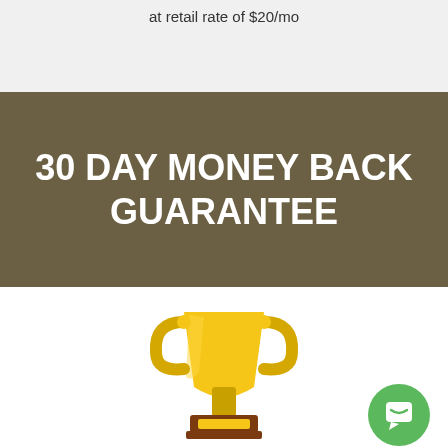at retail rate of $20/mo
30 DAY MONEY BACK GUARANTEE
[Figure (illustration): Golden trophy cup with brown base and yellow plaque, emoji style illustration]
[Figure (illustration): Green circular chat/messaging button with white speech bubble icon]